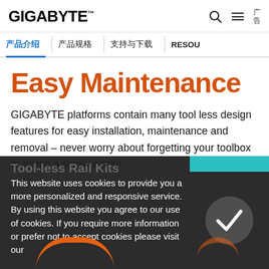GIGABYTE™ [search] [menu] [广告]
产品介绍 | 产品规格 | 支持与下载 | RESOU
Easy Maintenance
GIGABYTE platforms contain many tool less design features for easy installation, maintenance and removal – never worry about forgetting your toolbox or losing a screw again!
Tool-less Rail Kits
This website uses cookies to provide you a more personalized and responsive service. By using this website you agree to our use of cookies. If you require more information or prefer not to accept cookies please visit our